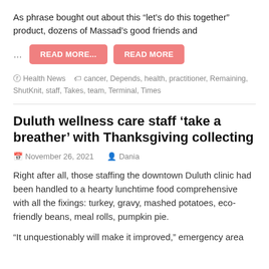As phrase bought out about this “let’s do this together” product, dozens of Massad’s good friends and
... READ MORE... READ MORE
□ Health News  🏷 cancer, Depends, health, practitioner, Remaining, ShutKnit, staff, Takes, team, Terminal, Times
Duluth wellness care staff ‘take a breather’ with Thanksgiving collecting
November 26, 2021   Dania
Right after all, those staffing the downtown Duluth clinic had been handled to a hearty lunchtime food comprehensive with all the fixings: turkey, gravy, mashed potatoes, eco-friendly beans, meal rolls, pumpkin pie.
“It unquestionably will make it improved,” emergency area